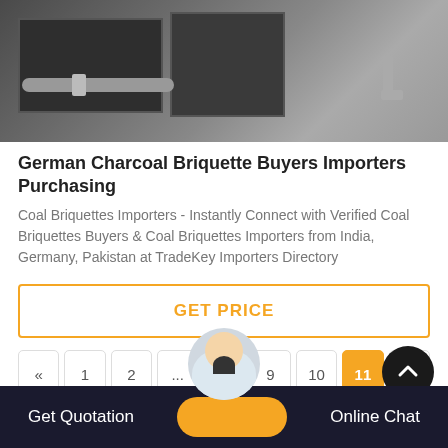[Figure (photo): Black and white industrial machinery photo showing pipes and metal equipment]
German Charcoal Briquette Buyers Importers Purchasing
Coal Briquettes Importers - Instantly Connect with Verified Coal Briquettes Buyers & Coal Briquettes Importers from India, Germany, Pakistan at TradeKey Importers Directory
GET PRICE
« 1 2 ... 8 9 10 11 12
Get Quotation   Online Chat